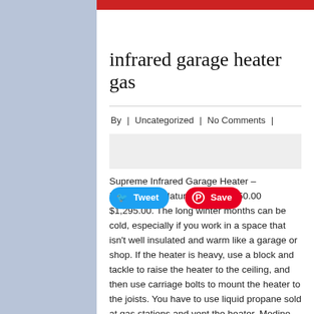infrared garage heater gas
By | Uncategorized | No Comments |
[Figure (other): Image placeholder / blank gray rectangle]
Supreme Infrared Garage Heater – 50,000BTU (Natural Gas) $2,550.00 $1,295.00. The long winter months can be cold, especially if you work in a space that isn't well insulated and warm like a garage or shop. If the heater is heavy, use a block and tackle to raise the heater to the ceiling, and then use carriage bolts to mount the heater to the joists. You have to use liquid propane sold at gas stations and vent the heater. Modine Hot Dawg 75,000 BTU Natural Gas Garage Ceiling Heater (12) Model# HD75A $ 937 38 /pallet. Basically, it should suffice most garage layouts; however, if it seems not long enough for your needs, you can additionally get any other standard hose that is meant for hooking up the